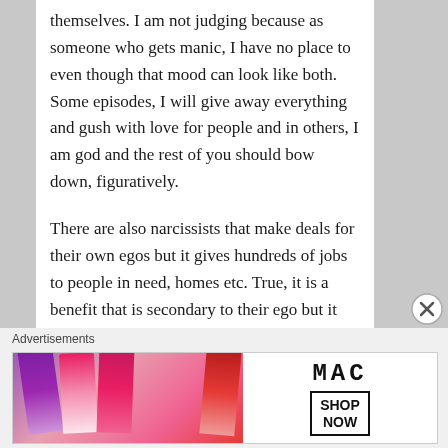themselves. I am not judging because as someone who gets manic, I have no place to even though that mood can look like both. Some episodes, I will give away everything and gush with love for people and in others, I am god and the rest of you should bow down, figuratively.

There are also narcissists that make deals for their own egos but it gives hundreds of jobs to people in need, homes etc. True, it is a benefit that is secondary to their ego but it will serve them better in their ego to have
[Figure (other): Close (X) button circle icon on right side]
Advertisements
[Figure (photo): MAC cosmetics advertisement banner showing colorful lipsticks (purple, peach, pink, red) with MAC logo and SHOP NOW call to action box]